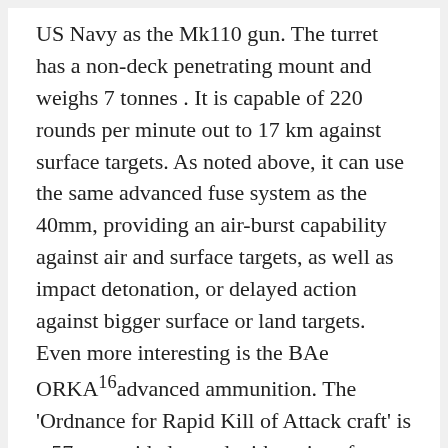US Navy as the Mk110 gun. The turret has a non-deck penetrating mount and weighs 7 tonnes . It is capable of 220 rounds per minute out to 17 km against surface targets. As noted above, it can use the same advanced fuse system as the 40mm, providing an air-burst capability against air and surface targets, as well as impact detonation, or delayed action against bigger surface or land targets. Even more interesting is the BAe ORKA¹⁶advanced ammunition. The 'Ordnance for Rapid Kill of Attack craft' is a 57mm guided round with anti-surface and anti-air capabilities. These are provided by an imaging seeker that can also lock-on to an illuminated laser reflection. Beyond ORKA is DARPA's MAD-FIRES, a 57mm gun launched point-defence anti-missile missile.